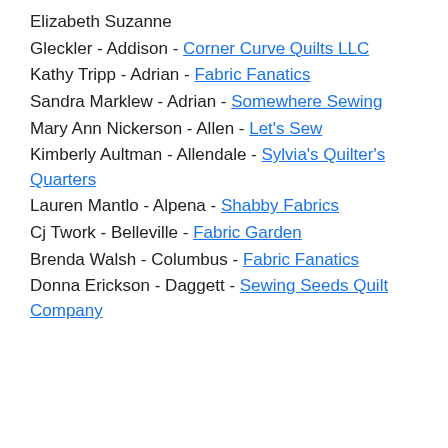Elizabeth Suzanne
Gleckler - Addison - Corner Curve Quilts LLC
Kathy Tripp - Adrian - Fabric Fanatics
Sandra Marklew - Adrian - Somewhere Sewing
Mary Ann Nickerson - Allen - Let's Sew
Kimberly Aultman - Allendale - Sylvia's Quilter's Quarters
Lauren Mantlo - Alpena - Shabby Fabrics
Cj Twork - Belleville - Fabric Garden
Brenda Walsh - Columbus - Fabric Fanatics
Donna Erickson - Daggett - Sewing Seeds Quilt Company